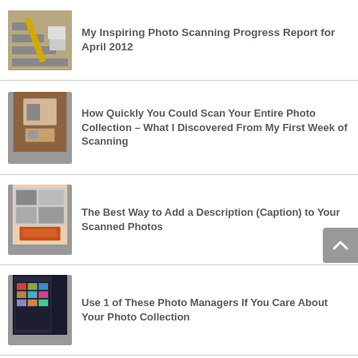My Inspiring Photo Scanning Progress Report for April 2012
How Quickly You Could Scan Your Entire Photo Collection – What I Discovered From My First Week of Scanning
The Best Way to Add a Description (Caption) to Your Scanned Photos
Use 1 of These Photo Managers If You Care About Your Photo Collection
What Everybody Ought to Know When Naming Your Scanned Photos - Part 1